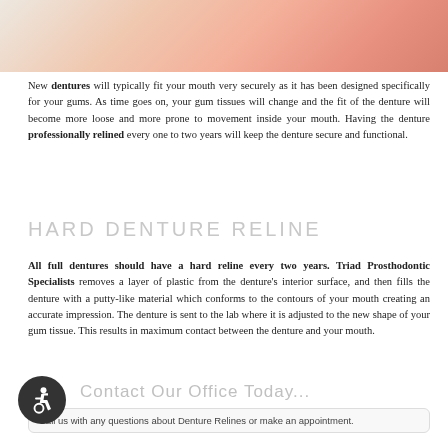[Figure (photo): Photo banner showing fabric or clothing in white and salmon/peach pink tones]
New dentures will typically fit your mouth very securely as it has been designed specifically for your gums. As time goes on, your gum tissues will change and the fit of the denture will become more loose and more prone to movement inside your mouth. Having the denture professionally relined every one to two years will keep the denture secure and functional.
HARD DENTURE RELINE
All full dentures should have a hard reline every two years. Triad Prosthodontic Specialists removes a layer of plastic from the denture's interior surface, and then fills the denture with a putty-like material which conforms to the contours of your mouth creating an accurate impression. The denture is sent to the lab where it is adjusted to the new shape of your gum tissue. This results in maximum contact between the denture and your mouth.
Contact Our Office Today...
Call us with any questions about Denture Relines or make an appointment.